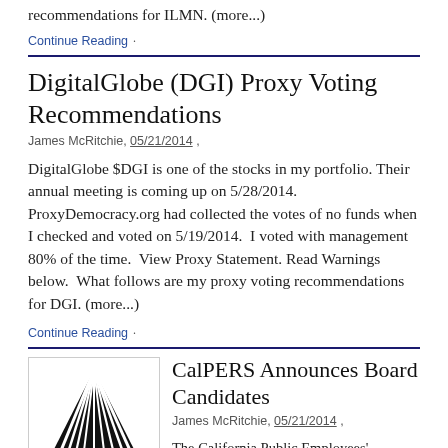recommendations for ILMN. (more...)
Continue Reading ·
DigitalGlobe (DGI) Proxy Voting Recommendations
James McRitchie, 05/21/2014 ,
DigitalGlobe $DGI is one of the stocks in my portfolio. Their annual meeting is coming up on 5/28/2014. ProxyDemocracy.org had collected the votes of no funds when I checked and voted on 5/19/2014.  I voted with management 80% of the time.  View Proxy Statement. Read Warnings below.  What follows are my proxy voting recommendations for DGI. (more...)
Continue Reading ·
[Figure (logo): CalPERS logo: black triangle with radiating lines and 'CalPERS' text below]
CalPERS Announces Board Candidates
James McRitchie, 05/21/2014 ,
The California Public Employees' Retirement System (CalPERS) is conducting two elections